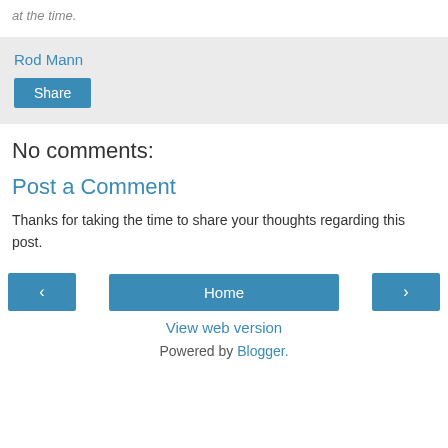at the time.
Rod Mann
Share
No comments:
Post a Comment
Thanks for taking the time to share your thoughts regarding this post.
‹
Home
›
View web version
Powered by Blogger.